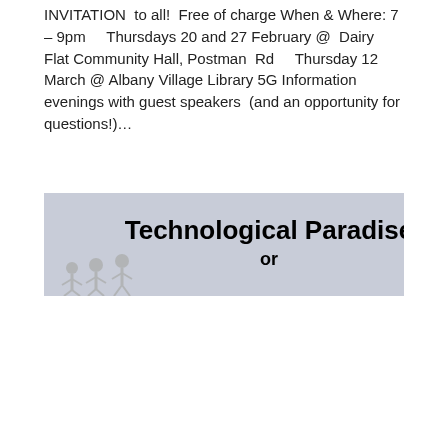INVITATION  to all!  Free of charge When & Where: 7 – 9pm    Thursdays 20 and 27 February @  Dairy Flat Community Hall, Postman  Rd    Thursday 12 March @ Albany Village Library 5G Information evenings with guest speakers  (and an opportunity for questions!)...
[Figure (illustration): Banner image with light blue/grey background showing text 'Technological Paradise' in large bold black font and 'or' below it, with a faint image of skeleton-like figures in the lower left area.]